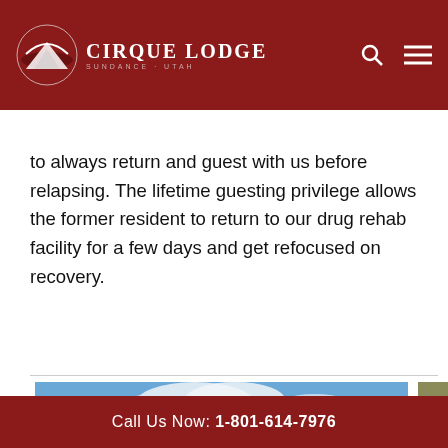Cirque Lodge — Sundance, Utah
to always return and guest with us before relapsing. The lifetime guesting privilege allows the former resident to return to our drug rehab facility for a few days and get refocused on recovery.
[Figure (photo): Red rock canyon landscape with blue sky and clouds, with overlaid white bold text reading 'Hope Is Just A Phone Call Away']
Call Us Now: 1-801-614-7976